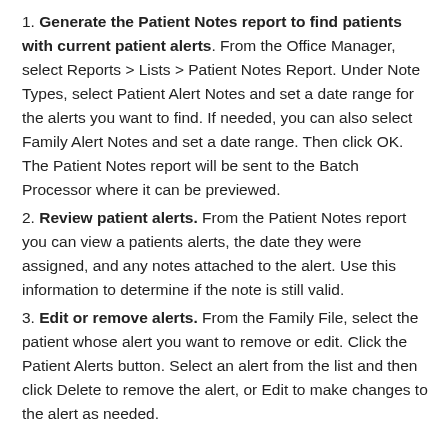1. Generate the Patient Notes report to find patients with current patient alerts. From the Office Manager, select Reports > Lists > Patient Notes Report. Under Note Types, select Patient Alert Notes and set a date range for the alerts you want to find. If needed, you can also select Family Alert Notes and set a date range. Then click OK. The Patient Notes report will be sent to the Batch Processor where it can be previewed.
2. Review patient alerts. From the Patient Notes report you can view a patients alerts, the date they were assigned, and any notes attached to the alert. Use this information to determine if the note is still valid.
3. Edit or remove alerts. From the Family File, select the patient whose alert you want to remove or edit. Click the Patient Alerts button. Select an alert from the list and then click Delete to remove the alert, or Edit to make changes to the alert as needed.